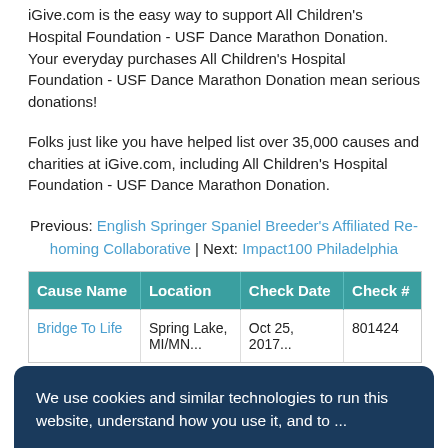iGive.com is the easy way to support All Children's Hospital Foundation - USF Dance Marathon Donation.  Your everyday purchases All Children's Hospital Foundation - USF Dance Marathon Donation mean serious donations!
Folks just like you have helped list over 35,000 causes and charities at iGive.com, including All Children's Hospital Foundation - USF Dance Marathon Donation.
Previous: English Springer Spaniel Breeder's Affiliated Re-homing Collaborative | Next: Impact100 Philadelphia
| Cause Name | Location | Check Date | Check # |
| --- | --- | --- | --- |
| Bridge To Life | Spring Lake, ... | Oct 25, 2017... | 801424 |
We use cookies and similar technologies to run this website, understand how you use it, and to ...